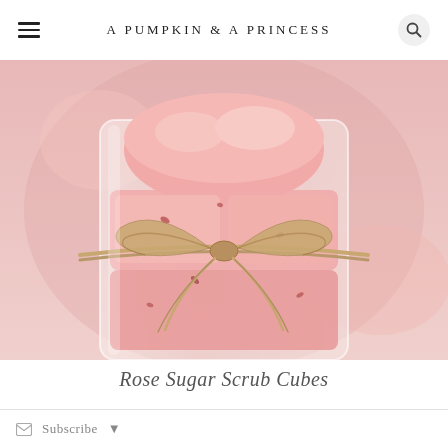A Pumpkin & A Princess
[Figure (photo): Close-up photo of pink rose sugar scrub cubes in a glass jar tied with a rustic twine bow. The cubes are pink/rose colored with dried rose petals scattered on and around them.]
Rose Sugar Scrub Cubes
Subscribe